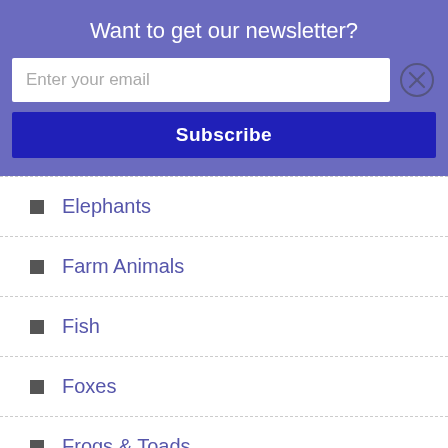Want to get our newsletter?
Enter your email
Subscribe
Elephants
Farm Animals
Fish
Foxes
Frogs & Toads
Giraffes